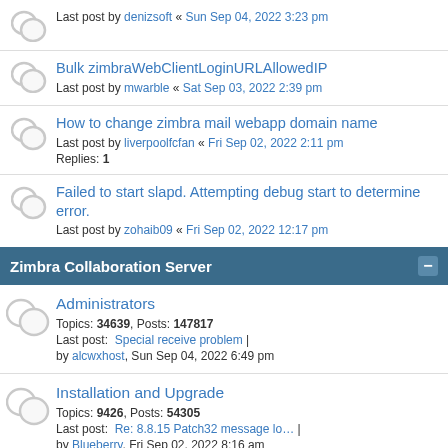Last post by denizsoft « Sun Sep 04, 2022 3:23 pm
Bulk zimbraWebClientLoginURLAllowedIP
Last post by mwarble « Sat Sep 03, 2022 2:39 pm
How to change zimbra mail webapp domain name
Last post by liverpoolfcfan « Fri Sep 02, 2022 2:11 pm
Replies: 1
Failed to start slapd. Attempting debug start to determine error.
Last post by zohaib09 « Fri Sep 02, 2022 12:17 pm
Zimbra Collaboration Server
Administrators
Topics: 34639, Posts: 147817
Last post: Special receive problem | by alcwxhost, Sun Sep 04, 2022 6:49 pm
Installation and Upgrade
Topics: 9426, Posts: 54305
Last post: Re: 8.8.15 Patch32 message lo… | by Blueberry, Fri Sep 02, 2022 8:16 am
Migration